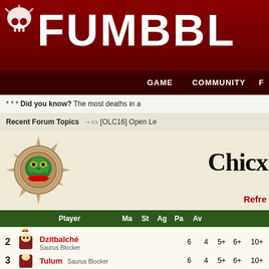FUMBBL
* * * Did you know? The most deaths in a
Recent Forum Topics  → [OLC16] Open Le
Chicx
Refre
|  |  | Player | Ma | St | Ag | Pa | Av |  |
| --- | --- | --- | --- | --- | --- | --- | --- | --- |
| 1 |  | Yucatan
Kroxigor | 6 | 5 | 6+ | - | 10+ | Bone Head, Guard, M |
| 2 |  | Dzitbalché
Saurus Blocker | 6 | 4 | 5+ | 6+ | 10+ |  |
| 3 |  | Tulum
Saurus Blocker | 6 | 4 | 5+ | 6+ | 10+ |  |
| 4 |  | Valladolid |  |  |  |  |  |  |